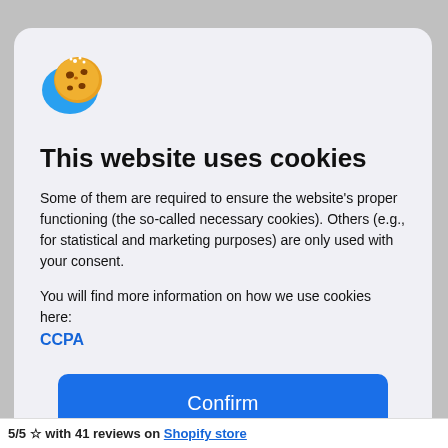[Figure (illustration): Cookie consent modal dialog with cookie emoji icon (a cookie with chocolate chips on a blue background), a title, body text, a confirm button, and a checkbox for personal information opt-out.]
This website uses cookies
Some of them are required to ensure the website's proper functioning (the so-called necessary cookies). Others (e.g., for statistical and marketing purposes) are only used with your consent.
You will find more information on how we use cookies here:
CCPA
Confirm
Do not sell my personal information
5/5 ☆ with 41 reviews on Shopify store